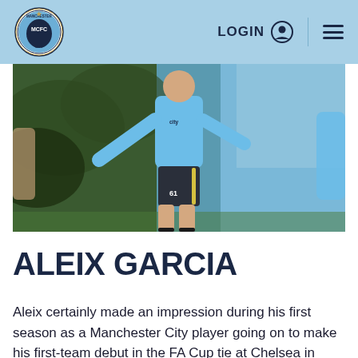Manchester City | LOGIN
[Figure (photo): Player in a light blue Manchester City training kit running/dribbling on an outdoor training pitch, dark shorts with yellow stripe, number 61, trees in background]
ALEIX GARCIA
Aleix certainly made an impression during his first season as a Manchester City player going on to make his first-team debut in the FA Cup tie at Chelsea in February.